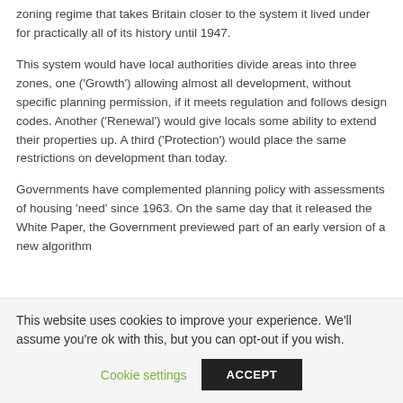zoning regime that takes Britain closer to the system it lived under for practically all of its history until 1947.
This system would have local authorities divide areas into three zones, one ('Growth') allowing almost all development, without specific planning permission, if it meets regulation and follows design codes. Another ('Renewal') would give locals some ability to extend their properties up. A third ('Protection') would place the same restrictions on development than today.
Governments have complemented planning policy with assessments of housing 'need' since 1963. On the same day that it released the White Paper, the Government previewed part of an early version of a new algorithm
This website uses cookies to improve your experience. We'll assume you're ok with this, but you can opt-out if you wish.